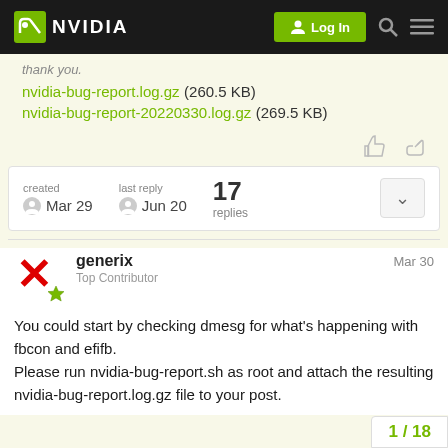NVIDIA Log In
thank you.
nvidia-bug-report.log.gz (260.5 KB)
nvidia-bug-report-20220330.log.gz (269.5 KB)
| created | last reply | replies |
| --- | --- | --- |
| Mar 29 | Jun 20 | 17 |
generix
Top Contributor
Mar 30
You could start by checking dmesg for what's happening with fbcon and efifb.
Please run nvidia-bug-report.sh as root and attach the resulting nvidia-bug-report.log.gz file to your post.
1 / 18